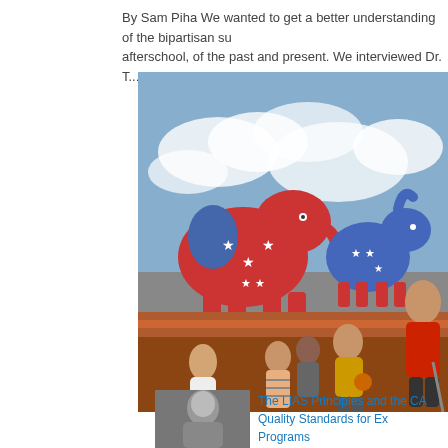By Sam Piha We wanted to get a better understanding of the bipartisan support for afterschool, of the past and present. We interviewed Dr. T...
[Figure (photo): Children playing basketball outdoors with Republican elephant and Democratic donkey logos overlaid on a cloudy sky background. An adult in a red shirt supervises.]
[Figure (photo): Black and white thumbnail photo, person close-up]
The LIAS Principles and the CA Quality Standards for Ex... Programs